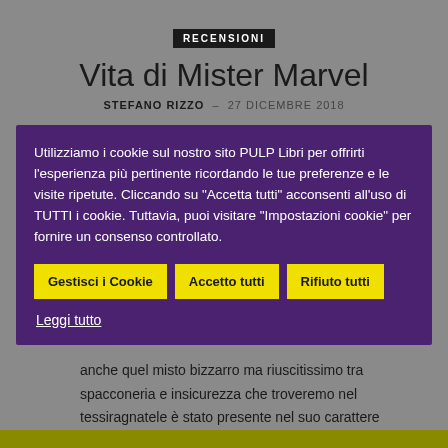RECENSIONI
Vita di Mister Marvel
STEFANO RIZZO – 27 DICEMBRE 2018
[Figure (screenshot): Cookie consent banner with purple background. Text: 'Utilizziamo i cookie sul nostro sito PULP Libri per offrirti l'esperienza più pertinente ricordando le tue preferenze e le visite ripetute. Cliccando su "Accetta tutti" acconsenti all'uso di TUTTI i cookie. Tuttavia, puoi visitare "Impostazioni cookie" per fornire un consenso controllato.' Three yellow buttons: 'Gestisci i Cookie', 'Accetto tutti', 'Rifiuto tutti'. Link: 'Leggi tutto'.]
anche quel misto bizzarro ma riuscitissimo tra spacconeria e insicurezza che troveremo nel tessiragnatele è stato presente nel suo carattere da sempre.*